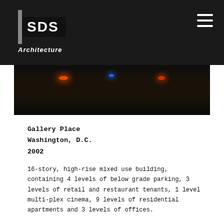[Figure (logo): SDS Architecture logo — white SDS text on dark background with gray left bar, italic Architecture text below]
[Figure (photo): Nighttime photograph of a parking lot or street scene with vehicle lights visible — red, blue, and orange glowing lights against a very dark background]
Gallery Place
Washington, D.C.
2002
16-story, high-rise mixed use building, containing 4 levels of below grade parking, 3 levels of retail and restaurant tenants, 1 level multi-plex cinema, 9 levels of residential apartments and 3 levels of offices.
Office/retail and residential - 745,265 sq.ft.; parking garage - 323,560 sq.ft.